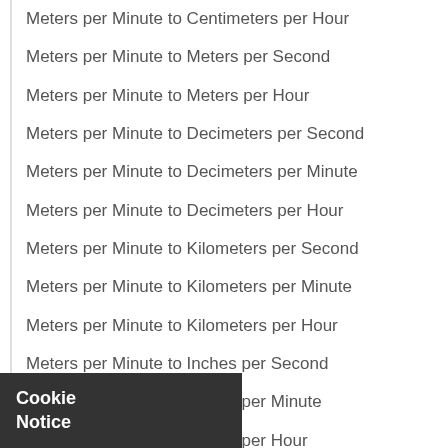Meters per Minute to Centimeters per Hour
Meters per Minute to Meters per Second
Meters per Minute to Meters per Hour
Meters per Minute to Decimeters per Second
Meters per Minute to Decimeters per Minute
Meters per Minute to Decimeters per Hour
Meters per Minute to Kilometers per Second
Meters per Minute to Kilometers per Minute
Meters per Minute to Kilometers per Hour
Meters per Minute to Inches per Second
Meters per Minute to Inches per Minute
Meters per Minute to Inches per Hour
Meters per Minute to Feet per Second
Meters per Minute to Feet per Minute
Meters per Minute to Feet per Hour
Meters per Minute to Yards per Second
Meters per Minute to Yards per Minute
Meters per Minute to Yards per Hour
Cookie Notice